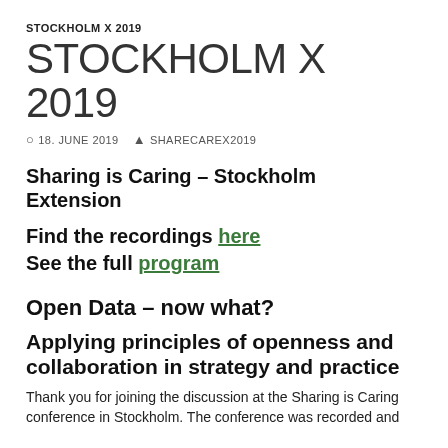STOCKHOLM X 2019
STOCKHOLM X 2019
18. JUNE 2019   SHARECAREX2019
Sharing is Caring – Stockholm Extension
Find the recordings here
See the full program
Open Data – now what?
Applying principles of openness and collaboration in strategy and practice
Thank you for joining the discussion at the Sharing is Caring conference in Stockholm. The conference was recorded and